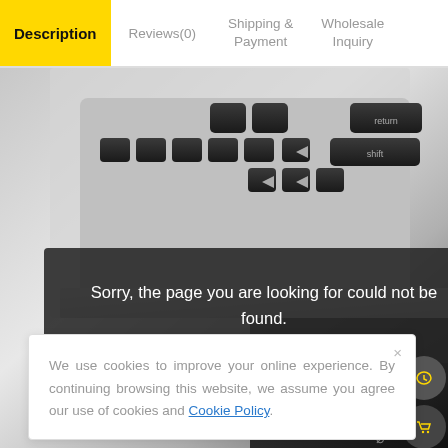Description | Reviews(0) | Shipping & Payment | Wholesale Inquiry
[Figure (photo): Close-up photo of a laptop keyboard (silver/aluminum MacBook style) with black keys, partially showing arrow keys, shift, return. Bottom right corner shows USB flash drives and ports on a dark device.]
Sorry, the page you are looking for could not be found.
We use cookies to improve your online experience. By continuing browsing this website, we assume you agree our use of cookies and Cookie Policy.